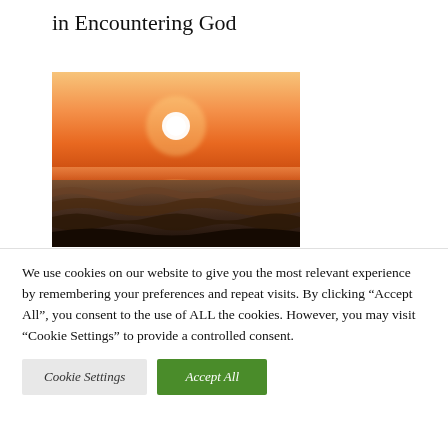in Encountering God
[Figure (photo): Sunset over ocean waves. Orange and amber sky with bright white sun disk above dark choppy water.]
We use cookies on our website to give you the most relevant experience by remembering your preferences and repeat visits. By clicking “Accept All”, you consent to the use of ALL the cookies. However, you may visit "Cookie Settings" to provide a controlled consent.